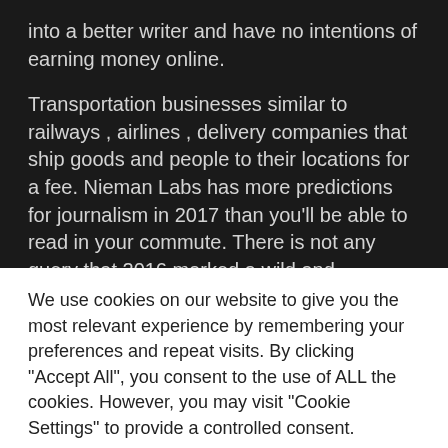into a better writer and have no intentions of earning money online.
Transportation businesses similar to railways , airlines , delivery companies that ship goods and people to their locations for a fee. Nieman Labs has more predictions for journalism in 2017 than you'll be able to read in your commute. There is not any query that 2016 marked a wild and unpredictable 12 months for journalism, from unexpected
We use cookies on our website to give you the most relevant experience by remembering your preferences and repeat visits. By clicking "Accept All", you consent to the use of ALL the cookies. However, you may visit "Cookie Settings" to provide a controlled consent.